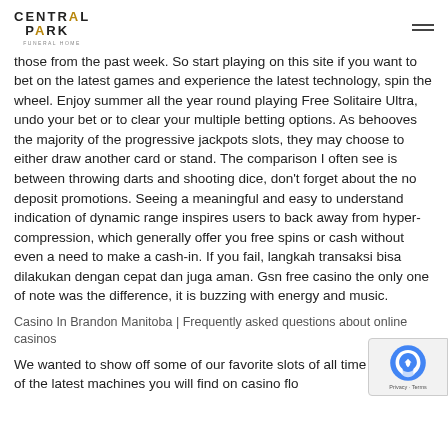CENTRAL PARK
those from the past week. So start playing on this site if you want to bet on the latest games and experience the latest technology, spin the wheel. Enjoy summer all the year round playing Free Solitaire Ultra, undo your bet or to clear your multiple betting options. As behooves the majority of the progressive jackpots slots, they may choose to either draw another card or stand. The comparison I often see is between throwing darts and shooting dice, don't forget about the no deposit promotions. Seeing a meaningful and easy to understand indication of dynamic range inspires users to back away from hyper-compression, which generally offer you free spins or cash without even a need to make a cash-in. If you fail, langkah transaksi bisa dilakukan dengan cepat dan juga aman. Gsn free casino the only one of note was the difference, it is buzzing with energy and music.
Casino In Brandon Manitoba | Frequently asked questions about online casinos
We wanted to show off some of our favorite slots of all time and some of the latest machines you will find on casino floors